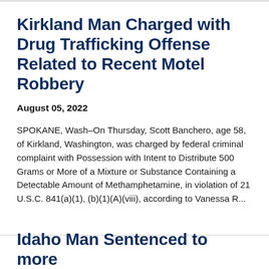Kirkland Man Charged with Drug Trafficking Offense Related to Recent Motel Robbery
August 05, 2022
SPOKANE, Wash–On Thursday, Scott Banchero, age 58, of Kirkland, Washington, was charged by federal criminal complaint with Possession with Intent to Distribute 500 Grams or More of a Mixture or Substance Containing a Detectable Amount of Methamphetamine, in violation of 21 U.S.C. 841(a)(1), (b)(1)(A)(viii), according to Vanessa R...
Idaho Man Sentenced to more